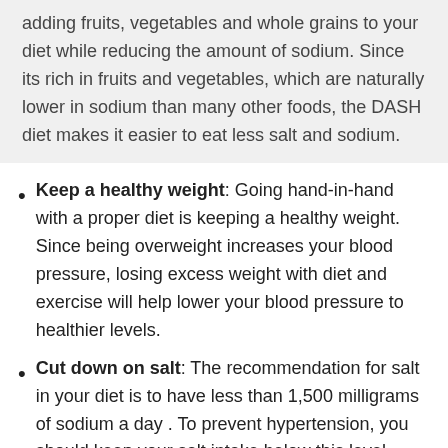adding fruits, vegetables and whole grains to your diet while reducing the amount of sodium. Since its rich in fruits and vegetables, which are naturally lower in sodium than many other foods, the DASH diet makes it easier to eat less salt and sodium.
Keep a healthy weight: Going hand-in-hand with a proper diet is keeping a healthy weight. Since being overweight increases your blood pressure, losing excess weight with diet and exercise will help lower your blood pressure to healthier levels.
Cut down on salt: The recommendation for salt in your diet is to have less than 1,500 milligrams of sodium a day . To prevent hypertension, you should keep your salt intake below this level. Don't forget that most restaurant foods and many processed and frozen foods contain high levels of salt. Use herbs and spices that do not contain